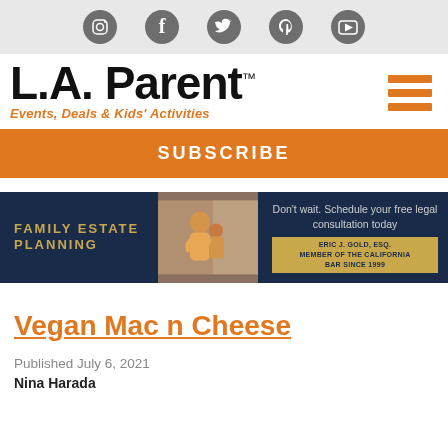[Figure (other): Social media icons row: Instagram, Facebook, Twitter, Pinterest, YouTube on gray background]
[Figure (logo): L.A. Parent logo with tagline 'Events, Deals & Kids' Activities' and hamburger menu icon]
SUBSCRIBE
[Figure (infographic): Family estate planning advertisement banner: dark navy background, gold text 'FAMILY ESTATE PLANNING', photo of mother and child, text 'Don't wait. Schedule your free legal consultation today', badge 'ERIC J. GOLD, ESQ. MEMBER OF THE CALIFORNIA BAR SINCE 1999']
Vegan Mac n Cheese
Published July 6, 2021
Nina Harada